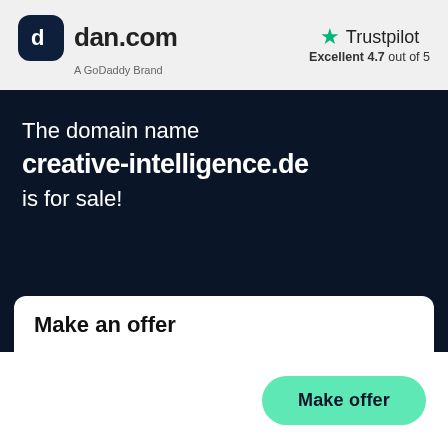[Figure (logo): dan.com logo with dark rounded square icon and 'dan.com' text, subtitle 'A GoDaddy Brand']
[Figure (logo): Trustpilot logo with green star, text 'Trustpilot', rating 'Excellent 4.7 out of 5']
The domain name
creative-intelligence.de
is for sale!
Make an offer
Make offer